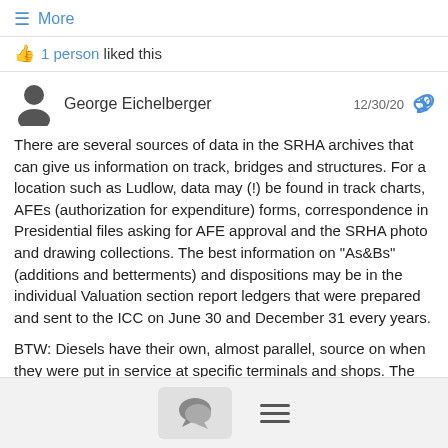≡ More
👍 1 person liked this
George Eichelberger   12/30/20
There are several sources of data in the SRHA archives that can give us information on track, bridges and structures. For a location such as Ludlow, data may (!) be found in track charts, AFEs (authorization for expenditure) forms, correspondence in Presidential files asking for AFE approval and the SRHA photo and drawing collections. The best information on "As&Bs" (additions and betterments) and dispositions may be in the individual Valuation section report ledgers that were prepared and sent to the ICC on June 30 and December 31 every years.
BTW: Diesels have their own, almost parallel, source on when they were put in service at specific terminals and shops. The Southern had to provide diesel fuel at each service point. Fuel
chat menu